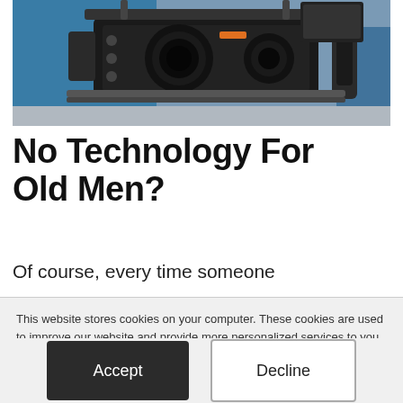[Figure (photo): Close-up photograph of a professional video/film camera rig with multiple lenses and accessories, set against a blue background]
No Technology For Old Men?
Of course, every time someone
This website stores cookies on your computer. These cookies are used to improve our website and provide more personalized services to you, both on this website and through other media. To find out more about the cookies we use, see our Privacy Policy.